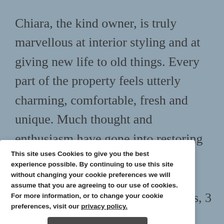Chiara, the kind owner, is truly marvellous at interior styling and at giving new life to old things. Every part of the property feels utterly charming, comfortable, fresh and unique. Much thought and enthusiasm have gone into restoring this property which belonged to Chiara's ancestors. It really is all about the details!
Trullo Grande is a group of 7 trulli cones. Once a ... an apartment for 6 guests, offering 3 double bedrooms, 3 ... kitchen, living area and private terrace.
Trulli 1959 is located in a very small hamlet of other trulli and gives guests a glimpse of real life in the Apulian countryside.
This site uses Cookies to give you the best experience possible. By continuing to use this site without changing your cookie preferences we will assume that you are agreeing to our use of cookies. For more information, or to change your cookie preferences, visit our privacy policy.